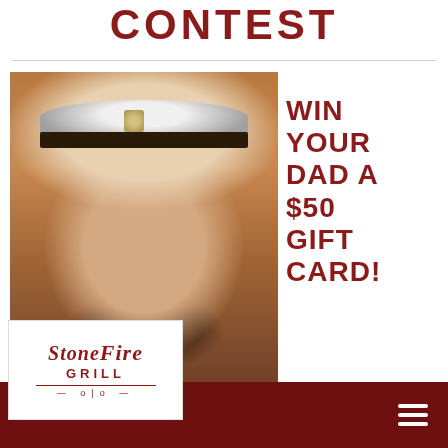CONTEST
[Figure (photo): Sepia-toned portrait photograph of a man in a US Navy officer uniform with white peaked cap and badge]
WIN YOUR DAD A $50 GIFT CARD!
[Figure (logo): StoneFire Grill logo in red italic script on white background]